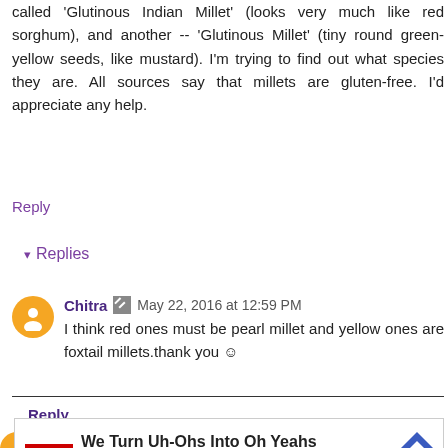called 'Glutinous Indian Millet' (looks very much like red sorghum), and another -- 'Glutinous Millet' (tiny round green-yellow seeds, like mustard). I'm trying to find out what species they are. All sources say that millets are gluten-free. I'd appreciate any help.
Reply
▾ Replies
Chitra 🖊 May 22, 2016 at 12:59 PM
I think red ones must be pearl millet and yellow ones are foxtail millets.thank you ☺
Reply
Nirnaami May 30, 2016 at 8:36 PM
[Figure (screenshot): Advertisement for Maaco Auto Body Shop & Painting with tagline 'We Turn Uh-Ohs Into Oh Yeahs']